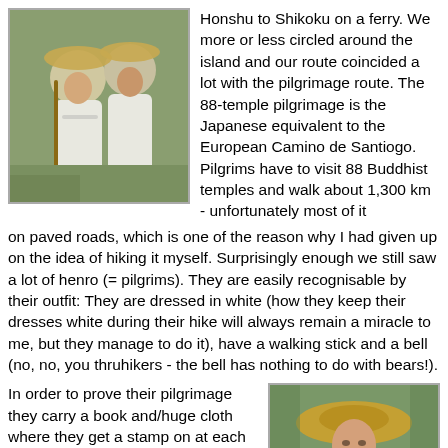[Figure (photo): Two pilgrims in white robes and traditional Japanese straw conical hats (sugegasa), one holding a walking stick, posed together outdoors.]
Honshu to Shikoku on a ferry. We more or less circled around the island and our route coincided a lot with the pilgrimage route. The 88-temple pilgrimage is the Japanese equivalent to the European Camino de Santiogo. Pilgrims have to visit 88 Buddhist temples and walk about 1,300 km - unfortunately most of it on paved roads, which is one of the reason why I had given up on the idea of hiking it myself. Surprisingly enough we still saw a lot of henro (= pilgrims). They are easily recognisable by their outfit: They are dressed in white (how they keep their dresses white during their hike will always remain a miracle to me, but they manage to do it), have a walking stick and a bell (no, no, you thruhikers - the bell has nothing to do with bears!).
In order to prove their pilgrimage they carry a book and/huge cloth where they get a stamp on at each temple. This is Japan, so you have
[Figure (photo): Close-up of a pilgrim wearing a traditional Japanese straw conical hat (sugegasa), dressed in white, outdoors among trees.]